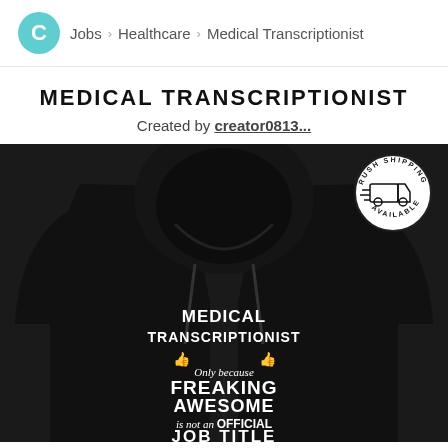C > Jobs > Healthcare > Medical Transcriptionist
MEDICAL TRANSCRIPTIONIST
Created by creator0813...
[Figure (photo): Black hoodie sweatshirt with text: MEDICAL TRANSCRIPTIONIST Only because FREAKING AWESOME is not an OFFICIAL JOB TITLE. Rush Shipping Available badge in top right.]